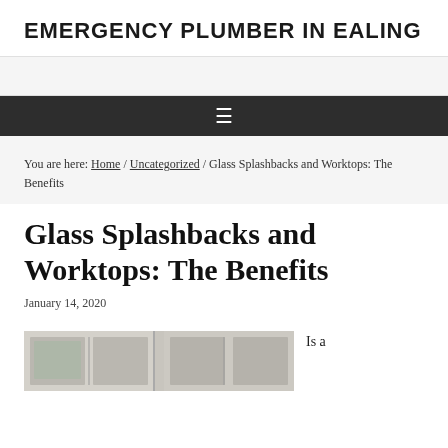EMERGENCY PLUMBER IN EALING
You are here: Home / Uncategorized / Glass Splashbacks and Worktops: The Benefits
Glass Splashbacks and Worktops: The Benefits
January 14, 2020
[Figure (photo): Photo of white kitchen cabinets/furniture]
Is a